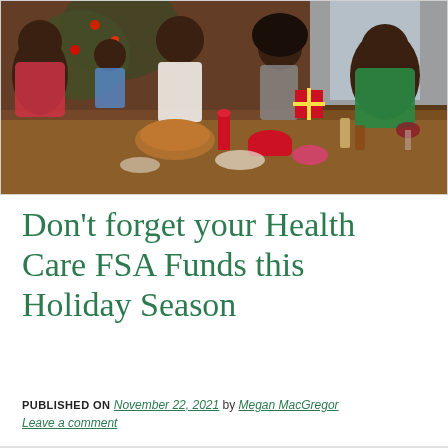[Figure (photo): A Black family gathered around a holiday dinner table, smiling and eating together. A Christmas tree is visible in the background. The table is filled with food, drinks, and festive decorations including red candles.]
Don't forget your Health Care FSA Funds this Holiday Season
PUBLISHED ON November 22, 2021 by Megan MacGregor Leave a comment